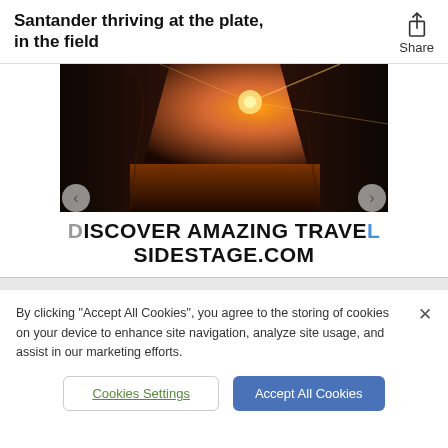Santander thriving at the plate, in the field
[Figure (photo): A scenic landscape photo showing rocky canyon walls with orange/red sunset light and water below, used in a travel slideshow advertisement]
DISCOVER AMAZING TRAVEL
SIDESTAGE.COM
By clicking "Accept All Cookies", you agree to the storing of cookies on your device to enhance site navigation, analyze site usage, and assist in our marketing efforts.
Cookies Settings
Accept All Cookies